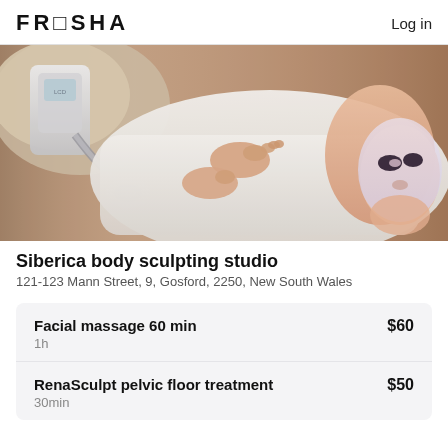FRESHA  Log in
[Figure (photo): A person lying on a treatment bed covered with a white towel, wearing a LED light therapy face mask. A cryolipolysis or body sculpting device with a blue light applicator is visible near the shoulder area. The background shows beige/brown curtains in a spa setting.]
Siberica body sculpting studio
121-123 Mann Street, 9, Gosford, 2250, New South Wales
| Service | Duration | Price |
| --- | --- | --- |
| Facial massage 60 min | 1h | $60 |
| RenaSculpt pelvic floor treatment | 30min | $50 |